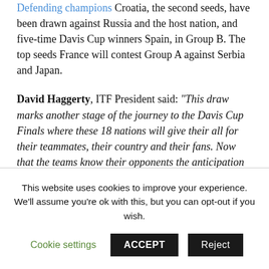Defending champions Croatia, the second seeds, have been drawn against Russia and the host nation, and five-time Davis Cup winners Spain, in Group B. The top seeds France will contest Group A against Serbia and Japan.
David Haggerty, ITF President said: "This draw marks another stage of the journey to the Davis Cup Finals where these 18 nations will give their all for their teammates, their country and their fans. Now that the teams know their opponents the anticipation can really build to what will be a spectacular event in November."
This website uses cookies to improve your experience. We'll assume you're ok with this, but you can opt-out if you wish.